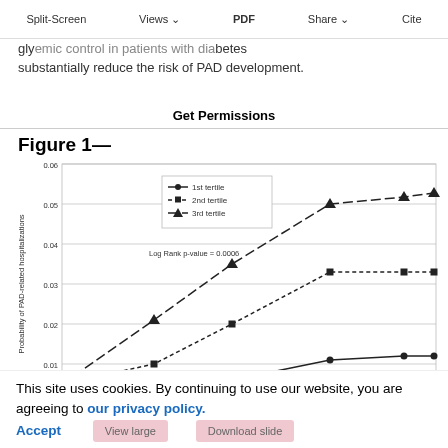Split-Screen | Views | PDF | Share | Cite | Get Permissions
glycemic control in patients with diabetes substantially reduce the risk of PAD development.
Figure 1—
[Figure (line-chart): Figure 1]
This site uses cookies. By continuing to use our website, you are agreeing to our privacy policy. Accept